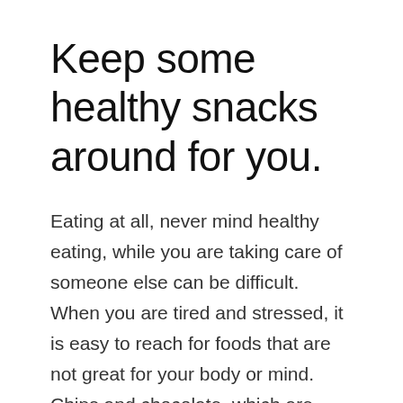Keep some healthy snacks around for you.
Eating at all, never mind healthy eating, while you are taking care of someone else can be difficult. When you are tired and stressed, it is easy to reach for foods that are not great for your body or mind. Chips and chocolate, which are typically quick and easy to grab, sound much better to a tired parent than fruit or vegetables for a snack. But keeping healthy snacks on hand, like hard boiled eggs, fruit, nuts, or raw vegetables (my go to this week was cheese and raisins, yum!) that